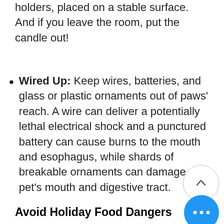holders, placed on a stable surface. And if you leave the room, put the candle out!
Wired Up: Keep wires, batteries, and glass or plastic ornaments out of paws' reach. A wire can deliver a potentially lethal electrical shock and a punctured battery can cause burns to the mouth and esophagus, while shards of breakable ornaments can damage your pet's mouth and digestive tract.
Avoid Holiday Food Dangers
Skip the Sweets: By now you